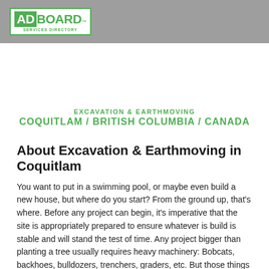ADBOARD™ Services Directory
EXCAVATION & EARTHMOVING
COQUITLAM / BRITISH COLUMBIA / CANADA
About Excavation & Earthmoving in Coquitlam
You want to put in a swimming pool, or maybe even build a new house, but where do you start? From the ground up, that's where. Before any project can begin, it's imperative that the site is appropriately prepared to ensure whatever is build is stable and will stand the test of time. Any project bigger than planting a tree usually requires heavy machinery: Bobcats, backhoes, bulldozers, trenchers, graders, etc. But those things